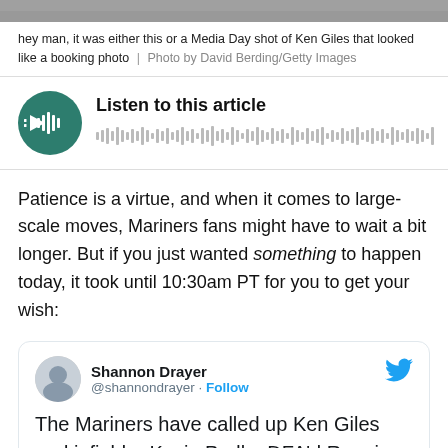[Figure (photo): Cropped image strip at top of page]
hey man, it was either this or a Media Day shot of Ken Giles that looked like a booking photo  |  Photo by David Berding/Getty Images
[Figure (other): Audio player widget with play button and waveform, titled 'Listen to this article']
Patience is a virtue, and when it comes to large-scale moves, Mariners fans might have to wait a bit longer. But if you just wanted something to happen today, it took until 10:30am PT for you to get your wish:
[Figure (screenshot): Tweet from @shannondrayer (Shannon Drayer) with follow button and Twitter bird icon. Tweet text: 'The Mariners have called up Ken Giles and infielder Kevin Padlo, DFA'd Roenis']